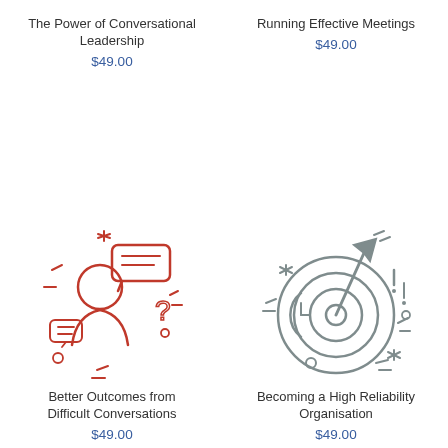The Power of Conversational Leadership
$49.00
Running Effective Meetings
$49.00
[Figure (illustration): Red line-art illustration of a person with speech bubbles, a question mark, and a chat icon representing conversational leadership]
Better Outcomes from Difficult Conversations
$49.00
[Figure (illustration): Gray line-art illustration of a target/bullseye with an arrow, clock, and decorative elements representing high reliability organisation]
Becoming a High Reliability Organisation
$49.00